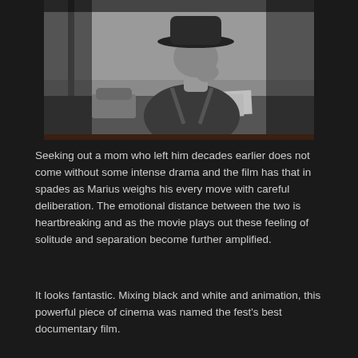[Figure (photo): Black and white photograph of a person wearing a cowboy hat, sitting at a desk with papers and a telephone, hand raised to face in a thoughtful or pensive pose. Background shows a wall.]
Seeking out a mom who left him decades earlier does not come without some intense drama and the film has that in spades as Marius weighs his every move with careful deliberation. The emotional distance between the two is heartbreaking and as the movie plays out these feeling of solitude and separation become further amplified.
It looks fantastic. Mixing black and white and animation, this powerful piece of cinema was named the fest's best documentary film.